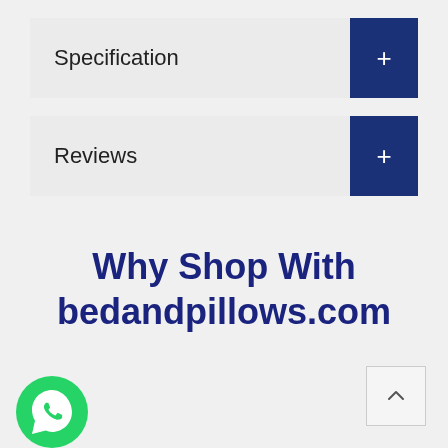Specification
Reviews
Why Shop With bedandpillows.com